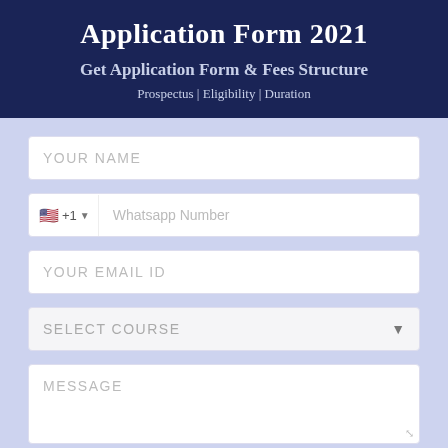Application Form 2021
Get Application Form & Fees Structure
Prospectus | Eligibility | Duration
YOUR NAME
+1  Whatsapp Number
YOUR EMAIL ID
SELECT COURSE
MESSAGE